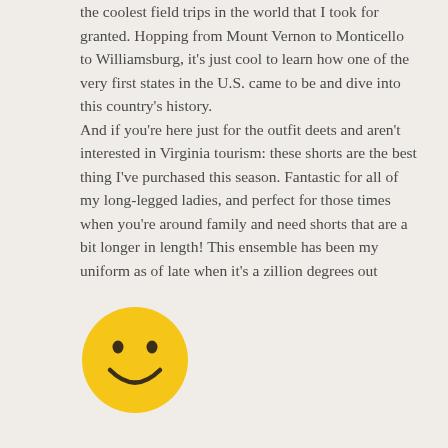the coolest field trips in the world that I took for granted. Hopping from Mount Vernon to Monticello to Williamsburg, it's just cool to learn how one of the very first states in the U.S. came to be and dive into this country's history.
And if you're here just for the outfit deets and aren't interested in Virginia tourism: these shorts are the best thing I've purchased this season. Fantastic for all of my long-legged ladies, and perfect for those times when you're around family and need shorts that are a bit longer in length! This ensemble has been my uniform as of late when it's a zillion degrees out
[Figure (illustration): Yellow smiley face emoji circle with two dot eyes and a curved smile on a light beige background]